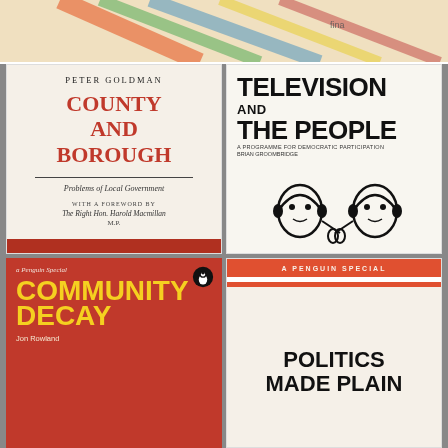[Figure (photo): Top strip showing part of a colorful board game or diagram with lines and text]
[Figure (photo): Book cover: 'County and Borough – Problems of Local Government' by Peter Goldman, with foreword by The Right Hon. Harold Macmillan M.P. Title in red serif font on cream background.]
[Figure (photo): Book cover: 'Television and the People – A Programme for Democratic Participation' by Brian Groombridge. Large bold black sans-serif title on white background with cartoon illustration of two faces wearing headphones.]
[Figure (photo): Book cover: 'Community Decay' by Jon Rowland, a Penguin Special. White italic text and bold yellow title on red background with penguin logo.]
[Figure (photo): Book cover: 'Politics Made Plain', A Penguin Special. Bold black title on cream background with orange/red top band.]